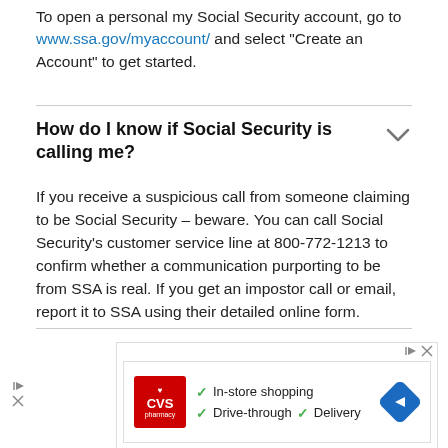To open a personal my Social Security account, go to www.ssa.gov/myaccount/ and select “Create an Account” to get started.
How do I know if Social Security is calling me?
If you receive a suspicious call from someone claiming to be Social Security – beware. You can call Social Security’s customer service line at 800-772-1213 to confirm whether a communication purporting to be from SSA is real. If you get an impostor call or email, report it to SSA using their detailed online form.
[Figure (infographic): CVS Pharmacy advertisement showing logo with checkmarks for In-store shopping, Drive-through, and Delivery services, with a navigation arrow icon]